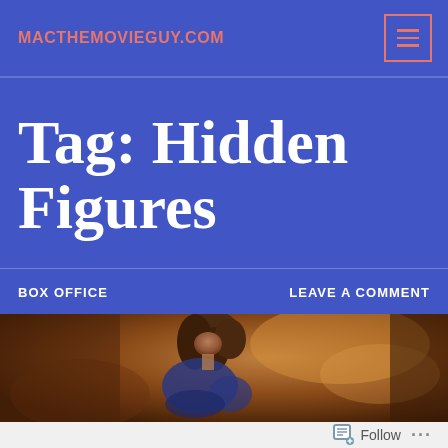MACTHEMOVIEGUY.COM
Tag: Hidden Figures
BOX OFFICE
LEAVE A COMMENT
[Figure (photo): A movie scene showing a person with brown hair, warmly lit with orange/amber tones in the background, appearing to be from a film still.]
Follow ...